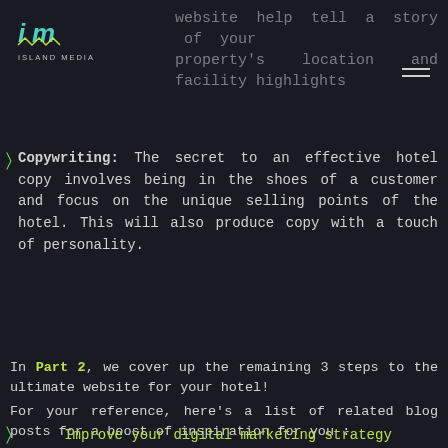website help tell a story of your property's location and facility highlights
[Figure (logo): Island Media logo with stylized 'im' in teal/green and company name below]
Copywriting: The secret to an effective hotel copy involves being in the shoes of a customer and focus on the unique selling points of the hotel. This will also produce copy with a touch of personality.
In Part 2, we cover up the remaining 3 steps to the ultimate website for your hotel!
For your reference, here's a list of related blog posts for a boost of inspiration for you :
Improve your digital marketing strategy